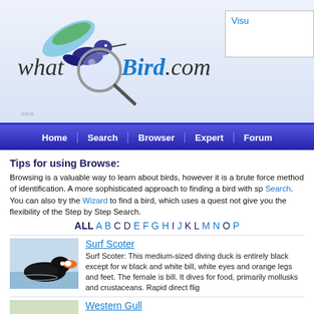[Figure (logo): whatBird.com website logo with hummingbird and magnifying glass illustration]
Home | Search | Browser | Expert | Forum
Tips for using Browse:
Browsing is a valuable way to learn about birds, however it is a brute force method of identification. A more sophisticated approach to finding a bird with specific characteristics is Step by Step Search. You can also try the Wizard to find a bird, which uses a question and answer technique but does not give you the flexibility of the Step by Step Search.
ALL A B C D E F G H I J K L M N O P
[Figure (photo): Photo of Surf Scoter bird - dark black diving duck on water]
Surf Scoter: This medium-sized diving duck is entirely black except for white patches on the forehead and nape. It has a large black and white bill, white eyes and orange legs and feet. The female is brown with a pale patch near the bill. It dives for food, primarily mollusks and crustaceans. Rapid direct flight.
[Figure (photo): Photo of Western Gull - large white and gray gull standing]
Western Gull: This large gull has gray upperparts, white head, neck, tail and underparts, yellow bill with red spot near tip and pale pink legs and feet. It has gray upper wings, white-spotted black wingtips. Feeds on crabs, clams, eggs, carrion and garbage. It has a direct flight; strong, steady wing beats.
[Figure (photo): Photo of Least Auklet - small black and white seabird]
Least Auklet: Very small seabird with black upperparts, small white plumes behind eyes. Throat is white. Bill is short and red with a white tip. The legs and feet are gray. It has a direct flight low over the water.